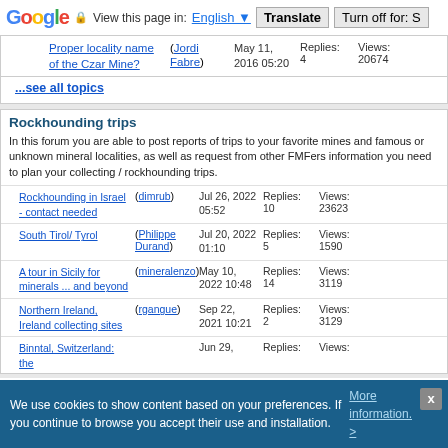Google — View this page in: English ▼ | Translate | Turn off for: S
| Topic | Author | Date | Replies | Views |
| --- | --- | --- | --- | --- |
| Proper locality name of the Czar Mine? | (Jordi Fabre) | May 11, 2016 05:20 | Replies: 4 | Views: 20674 |
...see all topics
Rockhounding trips
In this forum you are able to post reports of trips to your favorite mines and famous or unknown mineral localities, as well as request from other FMFers information you need to plan your collecting / rockhounding trips.
| Topic | Author | Date | Replies | Views |
| --- | --- | --- | --- | --- |
| Rockhounding in Israel - contact needed | (dimrub) | Jul 26, 2022 05:52 | Replies: 10 | Views: 23623 |
| South Tirol/ Tyrol | (Philippe Durand) | Jul 20, 2022 01:10 | Replies: 5 | Views: 1590 |
| A tour in Sicily for minerals ... and beyond | (mineralenzo) | May 10, 2022 10:48 | Replies: 14 | Views: 3119 |
| Northern Ireland, Ireland collecting sites | (rgangue) | Sep 22, 2021 10:21 | Replies: 2 | Views: 3129 |
| Binntal, Switzerland: the |  | Jun 29, | Replies: | Views: |
We use cookies to show content based on your preferences. If you continue to browse you accept their use and installation. More information. >